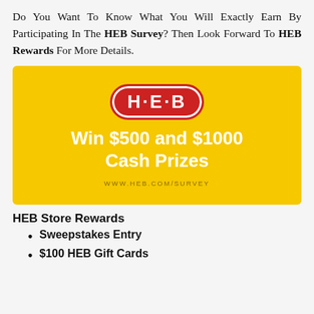Do You Want To Know What You Will Exactly Earn By Participating In The HEB Survey? Then Look Forward To HEB Rewards For More Details.
[Figure (infographic): H-E-B branded yellow banner with red H-E-B logo (rounded rectangle), text reading 'Win $500 and $1000 Cash Prizes' in white, and URL www.heb.com/survey in dark gold text below.]
HEB Store Rewards
Sweepstakes Entry
$100 HEB Gift Cards